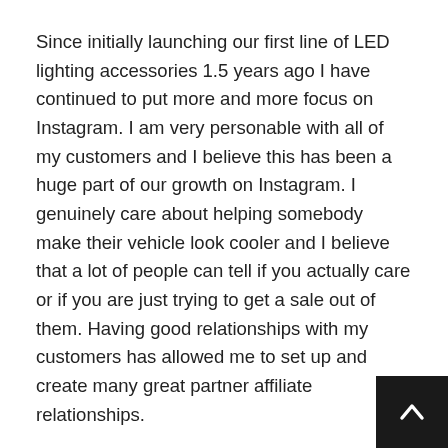Since initially launching our first line of LED lighting accessories 1.5 years ago I have continued to put more and more focus on Instagram. I am very personable with all of my customers and I believe this has been a huge part of our growth on Instagram. I genuinely care about helping somebody make their vehicle look cooler and I believe that a lot of people can tell if you actually care or if you are just trying to get a sale out of them. Having good relationships with my customers has allowed me to set up and create many great partner affiliate relationships.
This involves setting my customer up with their own custom discount code for them to share with their followers and friends to use on our site, then when their code gets used we pay out a portion of the sale to the affiliate. This has been an awesome win-win situation I have implemented into the business which has helped us expand and grow with the help of others spreading the